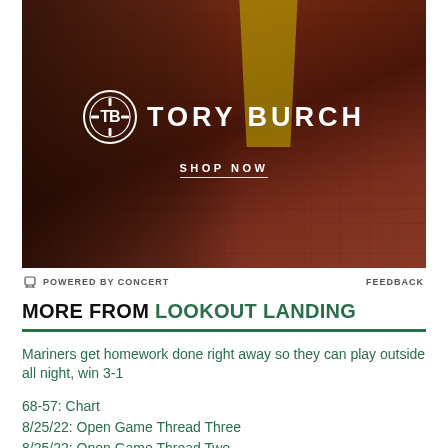[Figure (photo): Tory Burch advertisement featuring a model in a brown and yellow dress against a brick wall background, with Tory Burch logo and SHOP NOW text]
POWERED BY CONCERT   FEEDBACK
MORE FROM LOOKOUT LANDING
Mariners get homework done right away so they can play outside all night, win 3-1
68-57: Chart
8/25/22: Open Game Thread Three
8/25/22: Open Game Thread Two